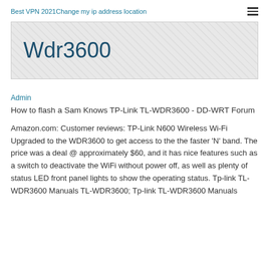Best VPN 2021Change my ip address location
Wdr3600
Admin
How to flash a Sam Knows TP-Link TL-WDR3600 - DD-WRT Forum
Amazon.com: Customer reviews: TP-Link N600 Wireless Wi-Fi Upgraded to the WDR3600 to get access to the the faster 'N' band. The price was a deal @ approximately $60, and it has nice features such as a switch to deactivate the WiFi without power off, as well as plenty of status LED front panel lights to show the operating status. Tp-link TL-WDR3600 Manuals TL-WDR3600; Tp-link TL-WDR3600 Manuals